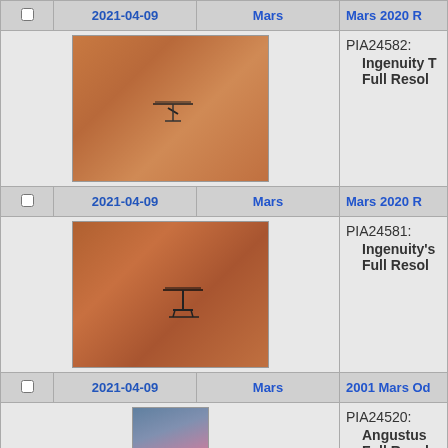|  | Date | Planet | Mission/Title |
| --- | --- | --- | --- |
| ☐ | 2021-04-09 | Mars | Mars 2020 R... |
|  | PIA24582: | Ingenuity T... Full Resol... |  |
| ☐ | 2021-04-09 | Mars | Mars 2020 R... |
|  | PIA24581: | Ingenuity's... Full Resol... |  |
| ☐ | 2021-04-09 | Mars | 2001 Mars Od... |
|  | PIA24520: | Angustus... Full Resol... |  |
| ☐ | 2021-04-08 | Mars | 2001 Mars Od... |
|  | PIA24519: | Mawrth Va... |  |